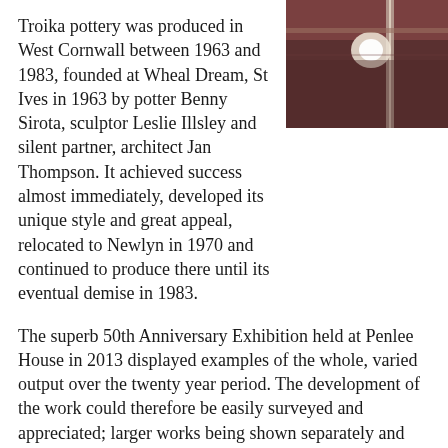Troika pottery was produced in West Cornwall between 1963 and 1983, founded at Wheal Dream, St Ives in 1963 by potter Benny Sirota, sculptor Leslie Illsley and silent partner, architect Jan Thompson. It achieved success almost immediately, developed its unique style and great appeal, relocated to Newlyn in 1970 and continued to produce there until its eventual demise in 1983.
[Figure (photo): A partial interior photograph showing what appears to be a ceiling or wall detail with lighting, dark reddish-brown tones.]
The superb 50th Anniversary Exhibition held at Penlee House in 2013 displayed examples of the whole, varied output over the twenty year period. The development of the work could therefore be easily surveyed and appreciated; larger works being shown separately and smaller works in groups – which particularly suits Troika.
Troika achieved early critical success when the white, smooth-surface pieces, many of which were decorated sparely with single discs of dark colour, were